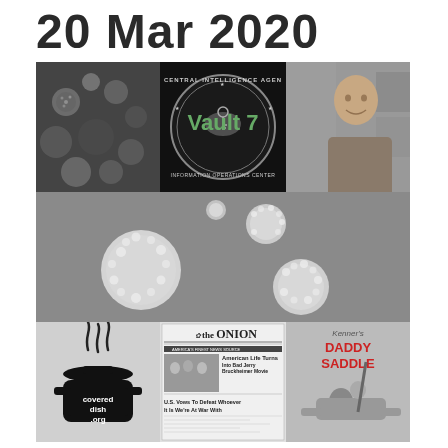20 Mar 2020
[Figure (photo): Collage of three images: microscope image of virus particles (left), CIA Vault 7 Information Operations Center seal with 'Vault 7' text overlay (center), man in grey shirt smiling (right)]
[Figure (photo): Grey background with white/light virus-like particles scattered, resembling coronavirus particles on a grey field]
[Figure (photo): Three images side by side: CoveredDish.org logo with steaming pot (left), The Onion newspaper front page with headlines including 'U.S. Vows To Defeat Whoever It Is We're At War With' (center), Kenner's Daddy Saddle toy advertisement with child riding adult (right)]